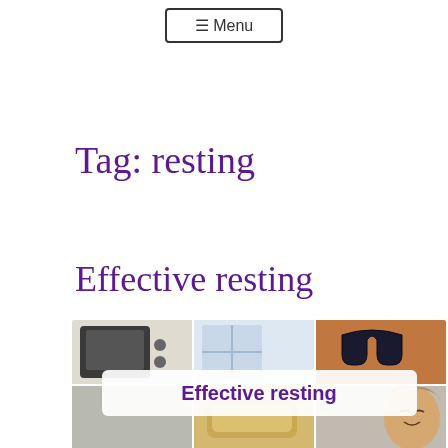≡ Menu
Tag: resting
Effective resting
[Figure (photo): Collage of four photos showing a vintage TV, a bright window, headphones on an orange background, and a woman resting with eyes closed. An overlay reads 'Effective resting' in bold purple text on a white rounded rectangle.]